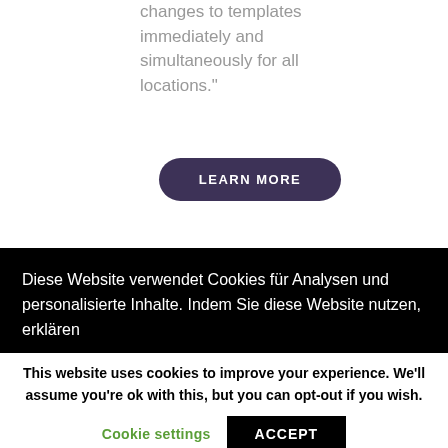changes to templates immediately and simultaneously for all locations.”
LEARN MORE
Diese Website verwendet Cookies für Analysen und personalisierte Inhalte. Indem Sie diese Website nutzen, erklären
This website uses cookies to improve your experience. We'll assume you're ok with this, but you can opt-out if you wish.
Cookie settings
ACCEPT